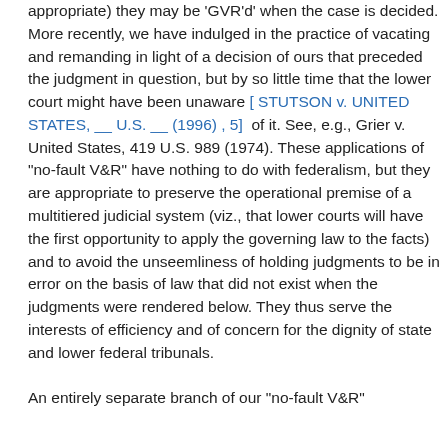appropriate) they may be 'GVR'd' when the case is decided. More recently, we have indulged in the practice of vacating and remanding in light of a decision of ours that preceded the judgment in question, but by so little time that the lower court might have been unaware [ STUTSON v. UNITED STATES, __ U.S. __ (1996) , 5]  of it. See, e.g., Grier v. United States, 419 U.S. 989 (1974). These applications of "no-fault V&R" have nothing to do with federalism, but they are appropriate to preserve the operational premise of a multitiered judicial system (viz., that lower courts will have the first opportunity to apply the governing law to the facts) and to avoid the unseemliness of holding judgments to be in error on the basis of law that did not exist when the judgments were rendered below. They thus serve the interests of efficiency and of concern for the dignity of state and lower federal tribunals.

An entirely separate branch of our "no-fault V&R"